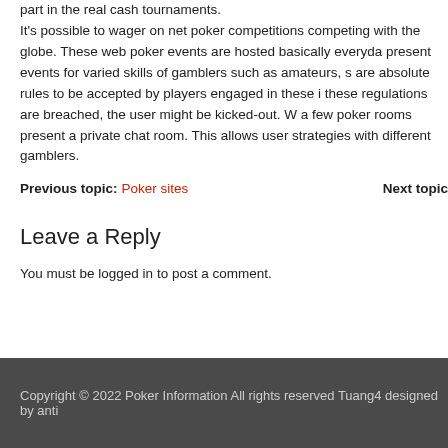part in the real cash tournaments. It's possible to wager on net poker competitions competing with the globe. These web poker events are hosted basically everyday and present events for varied skills of gamblers such as amateurs, s are absolute rules to be accepted by players engaged in these i these regulations are breached, the user might be kicked-out. W a few poker rooms present a private chat room. This allows user strategies with different gamblers.
Previous topic: Poker sites    Next topic
Leave a Reply
You must be logged in to post a comment.
Copyright © 2022 Poker Information All rights reserved Tuang4 designed by anti